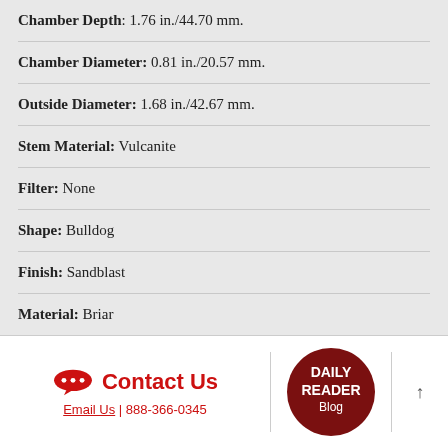Chamber Depth: 1.76 in./44.70 mm.
Chamber Diameter: 0.81 in./20.57 mm.
Outside Diameter: 1.68 in./42.67 mm.
Stem Material: Vulcanite
Filter: None
Shape: Bulldog
Finish: Sandblast
Material: Briar
Country: Ireland
Contact Us | Email Us | 888-366-0345 | Daily Reader Blog